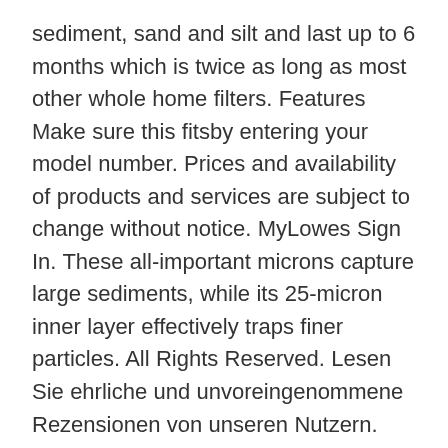sediment, sand and silt and last up to 6 months which is twice as long as most other whole home filters. Features Make sure this fitsby entering your model number. Prices and availability of products and services are subject to change without notice. MyLowes Sign In. These all-important microns capture large sediments, while its 25-micron inner layer effectively traps finer particles. All Rights Reserved. Lesen Sie ehrliche und unvoreingenommene Rezensionen von unseren Nutzern. Whirlpool WHKF-GD25BB Aqua-Pure AP810, AP801 GE GXWH30C GXWH35F GWWH40 Compatible Filter, KleenWater KW810 Replacement Water Filter Cartridge, Set of 4, with 2 Whirlpool WHKF-DWHBB and GE Compatible O Brand: KleenWater. https://www.filtersfast.com/P-WHKF-GD25BB-25-Micron-Whole-House-Filter.asp. Buy AQUACREST AP810 Whole House Water Filter, Compatible with 3M